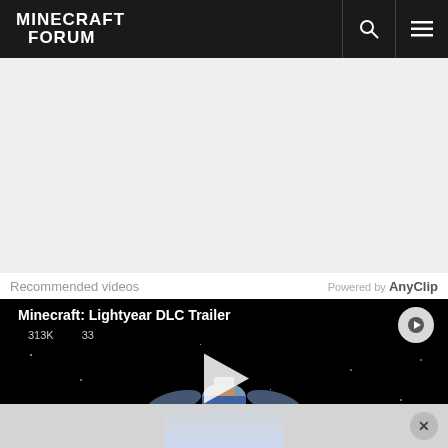Minecraft Forum
[Figure (screenshot): Advertisement/blank gray area below navigation header]
Recommended videos
Powered by AnyClip
[Figure (screenshot): Video player showing 'Minecraft: Lightyear DLC Trailer' with 313K views and 33 comments, dark space-themed thumbnail with Minecraft character on spacecraft, large play button in center, circular play icon top right. Partially visible bottom ad panel with X close button.]